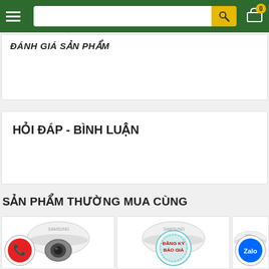Navigation bar with hamburger menu, search box, and cart (0)
ĐÁNH GIÁ SẢN PHẨM
HỎI ĐÁP - BÌNH LUẬN
SẢN PHẨM THƯỜNG MUA CÙNG
[Figure (photo): Samsung dome security camera product card with phone call badge overlay]
[Figure (photo): Samsung dome security camera product card with ĐĂNG KÝ BÁO GIÁ badge overlay]
[Figure (photo): Samsung dome security camera product card with Zalo badge overlay (partially visible)]